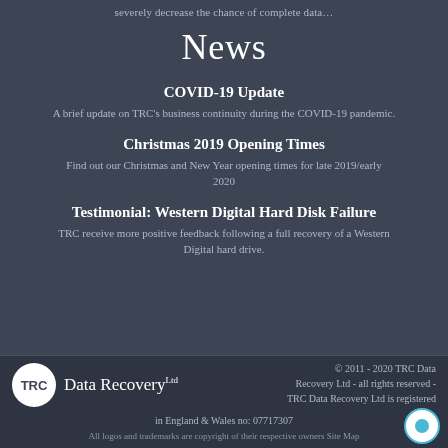severely decrease the chance of complete data…
News
COVID-19 Update
A brief update on TRC's business continuity during the COVID-19 pandemic.
Christmas 2019 Opening Times
Find out our Christmas and New Year opening times for late 2019/early 2020
Testimonial: Western Digital Hard Disk Failure
TRC receive more positive feedback following a full recovery of a Western Digital hard drive.
TRC Data Recovery Ltd © 2011 - 2020 TRC Data Recovery Ltd - all rights reserved - TRC Data Recovery Ltd is registered in England & Wales no: 07717307 All logos and trademarks are copyright of their respective owners Site Map